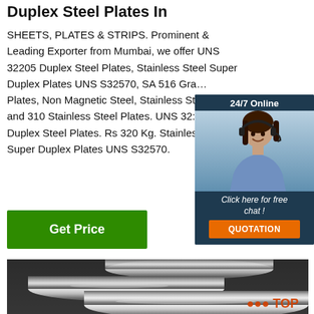Duplex Steel Plates In...
SHEETS, PLATES & STRIPS. Prominent & Leading Exporter from Mumbai, we offer UNS 32205 Duplex Steel Plates, Stainless Steel Super Duplex Plates UNS S32570, SA 516 Gra... Plates, Non Magnetic Steel, Stainless St... and 310 Stainless Steel Plates. UNS 32:... Duplex Steel Plates. Rs 320 Kg. Stainles... Super Duplex Plates UNS S32570.
[Figure (screenshot): 24/7 Online chat widget with customer service agent photo, 'Click here for free chat!' text, and QUOTATION button in orange]
[Figure (photo): Stainless steel round bars/rods in grey tones, industrial product image]